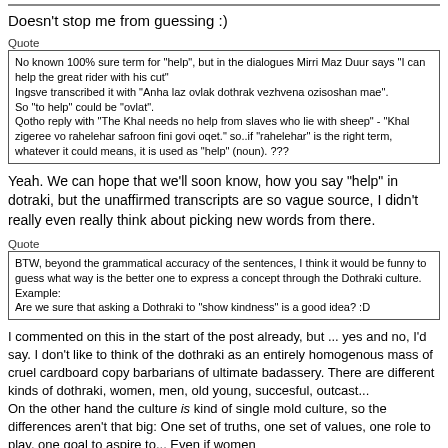Doesn't stop me from guessing :)
Quote
No known 100% sure term for "help", but in the dialogues Mirri Maz Duur says "I can help the great rider with his cut"
Ingsve transcribed it with "Anha laz ovlak dothrak vezhvena ozisoshan mae".
So "to help" could be "ovlat".
Qotho reply with "The Khal needs no help from slaves who lie with sheep" - "Khal zigeree vo rahelehar safroon fini govi oqet." so..if "rahelehar" is the right term, whatever it could means, it is used as "help" (noun).  ???
Yeah. We can hope that we'll soon know, how you say "help" in dotraki, but the unaffirmed transcripts are so vague source, I didn't really even really think about picking new words from there.
Quote
BTW, beyond the grammatical accuracy of the sentences, I think it would be funny to guess what way is the better one to express a concept through the Dothraki culture.
Example:
Are we sure that asking a Dothraki to "show kindness" is a good idea? :D
I commented on this in the start of the post already, but ... yes and no, I'd say. I don't like to think of the dothraki as an entirely homogenous mass of cruel cardboard copy barbarians of ultimate badassery. There are different kinds of dothraki, women, men, old young, succesful, outcast...
On the other hand the culture is kind of single mold culture, so the differences aren't that big: One set of truths, one set of values, one role to play, one goal to aspire to... Even if women